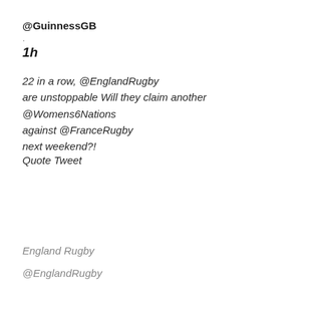@GuinnessGB
.
1h
22 in a row, @EnglandRugby are unstoppable Will they claim another @Womens6Nations against @FranceRugby next weekend?!
Quote Tweet
England Rugby
@EnglandRugby